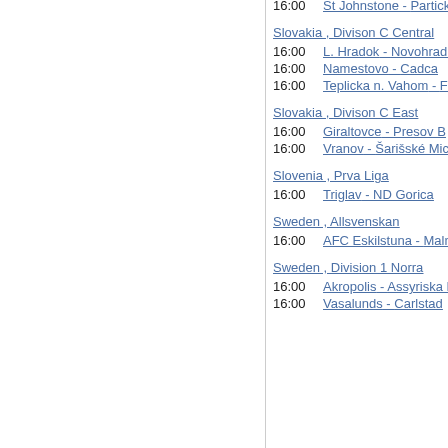16:00   St Johnstone - Partick
Slovakia , Divison C Central
16:00   L. Hradok - Novohrad Lucen
16:00   Namestovo - Cadca
16:00   Teplicka n. Vahom - Filakov
Slovakia , Divison C East
16:00   Giraltovce - Presov B
16:00   Vranov - Šarišské Michalan
Slovenia , Prva Liga
16:00   Triglav - ND Gorica
Sweden , Allsvenskan
16:00   AFC Eskilstuna - Malmo F
Sweden , Division 1 Norra
16:00   Akropolis - Assyriska FF
16:00   Vasalunds - Carlstad